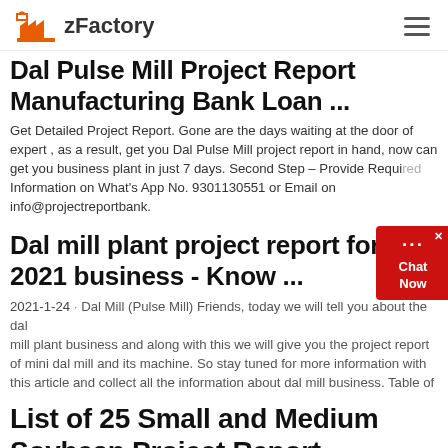zFactory
Dal Pulse Mill Project Report Manufacturing Bank Loan ...
Get Detailed Project Report. Gone are the days waiting at the door of expert , as a result, get you Dal Pulse Mill project report in hand, now can get you business plant in just 7 days. Second Step – Provide Required Information on What's App No. 9301130551 or Email on info@projectreportbank.
Dal mill plant project report for 2021 business - Know ...
2021-1-24 · Dal Mill (Pulse Mill) Friends, today we will tell you about the dal mill plant business and along with this we will give you the project report of mini dal mill and its machine. So stay tuned for more information with this article and collect all the information about dal mill business. Table of
List of 25 Small and Medium Soybean Project Report ...